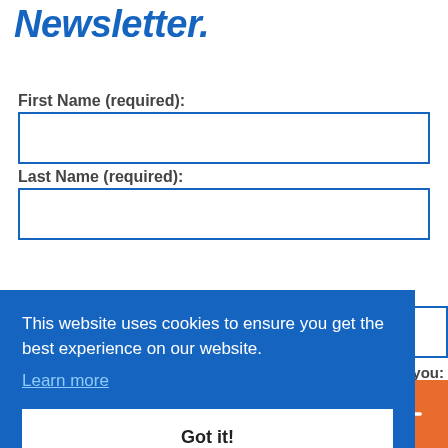Newsletter.
First Name (required):
Last Name (required):
[Figure (screenshot): Cookie consent banner overlaying a newsletter signup form. Banner text: 'This website uses cookies to ensure you get the best experience on our website.' with a 'Learn more' link and a 'Got it!' button. Partially visible form fields and a dropdown are visible behind/beside the banner on the right. A social share bar is at the bottom with 0 SHARES and Facebook, Twitter, Email, Pinterest, and More buttons.]
This website uses cookies to ensure you get the best experience on our website.
Learn more
Got it!
0
SHARES